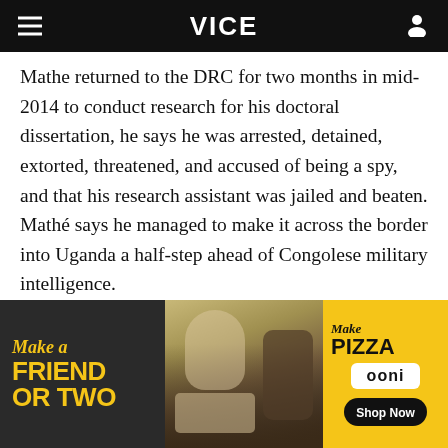VICE
Mathe returned to the DRC for two months in mid-2014 to conduct research for his doctoral dissertation, he says he was arrested, detained, extorted, threatened, and accused of being a spy, and that his research assistant was jailed and beaten. Mathé says he managed to make it across the border into Uganda a half-step ahead of Congolese military intelligence.
[Figure (photo): Advertisement banner for Ooni pizza. Left section with dark background shows 'Make a FRIEND OR TWO' in yellow text. Center section shows a photo of people and dogs at a picnic with a pizza. Right section with yellow background shows 'Make PIZZA', 'ooni' logo in white rounded box, and 'Shop Now' button.]